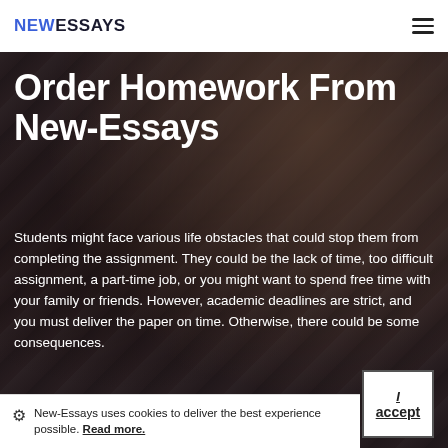NEWESSAYS
Order Homework From New-Essays
Students might face various life obstacles that could stop them from completing the assignment. They could be the lack of time, too difficult assignment, a part-time job, or you might want to spend free time with your family or friends. However, academic deadlines are strict, and you must deliver the paper on time. Otherwise, there could be some consequences.
New-Essays uses cookies to deliver the best experience possible. Read more.
I accept